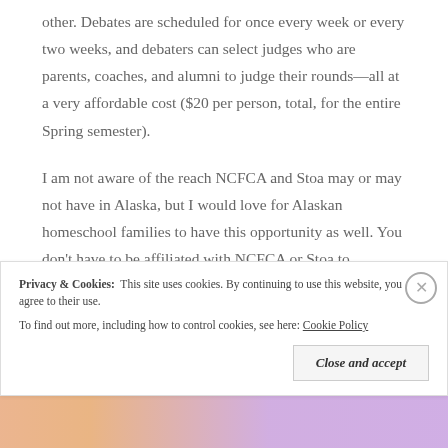other. Debates are scheduled for once every week or every two weeks, and debaters can select judges who are parents, coaches, and alumni to judge their rounds—all at a very affordable cost ($20 per person, total, for the entire Spring semester).
I am not aware of the reach NCFCA and Stoa may or may not have in Alaska, but I would love for Alaskan homeschool families to have this opportunity as well. You don't have to be affiliated with NCFCA or Stoa to participate in Ziggy. We can provide cursory resources for getting started, as well as can suggest additional debate materials for purchase from
Privacy & Cookies:  This site uses cookies. By continuing to use this website, you agree to their use.
To find out more, including how to control cookies, see here: Cookie Policy